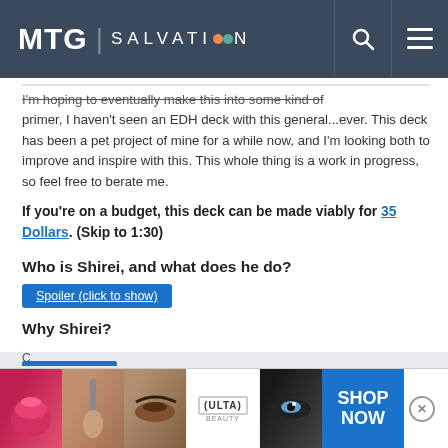MTG | SALVATION
I'm hoping to eventually make this into some kind of primer, I haven't seen an EDH deck with this general...ever. This deck has been a pet project of mine for a while now, and I'm looking both to improve and inspire with this. This whole thing is a work in progress, so feel free to berate me.
If you're on a budget, this deck can be made viably for 35 Dollars. (Skip to 1:30)
Who is Shirei, and what does he do?
Spoiler (click to show)
Why Shirei?
[Figure (photo): Advertisement banner showing makeup/beauty products with ULTA logo and SHOP NOW call-to-action]